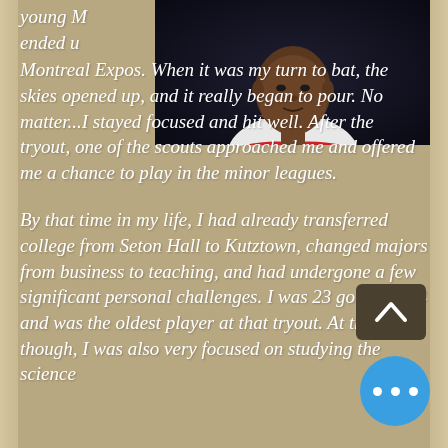[Figure (photo): Young man in white athletic jersey with red and blue stripe, dark background, head and shoulder shot]
young M... ended u... Montreal Expos. When it was my turn to bat, the skies opened up, and it really began to pour. No matter...I stayed focused and hit well. After the tryout, one of the scouts approached me and offered me a chance to play in the minor leagues.

By that time in my life, I had already transferred college from Seton Hall to Kutztown, changed majors from business to teaching, and had undergone a few significant personal challenges. I was 23 going on 24 and was the oldest player at that tryout. At that time though, I was also very focused on studying the science